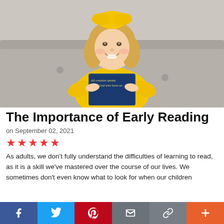[Figure (photo): A young blonde girl wearing a yellow dress and yellow bow in her hair, smiling and holding a dark-covered book that reads 'All creation speaks of the God who loves us.']
The Importance of Early Reading
on September 02, 2021
★★★★★
As adults, we don't fully understand the difficulties of learning to read, as it is a skill we've mastered over the course of our lives. We sometimes don't even know what to look for when our children
f  t  p  ✉  ∞  +